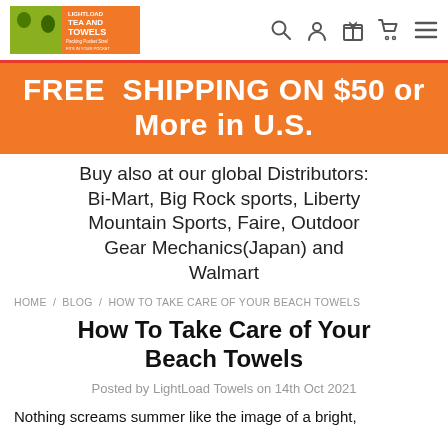LightLoad Tea and Towels — navigation bar with logo and icons
FREE  SHIPPING ON $50 or More in U.S.
Buy also at our global Distributors: Bi-Mart, Big Rock sports, Liberty Mountain Sports, Faire, Outdoor Gear Mechanics(Japan) and Walmart
HOME / BLOG / HOW TO TAKE CARE OF YOUR BEACH TOWELS
How To Take Care of Your Beach Towels
Posted by LightLoad Towels on 14th Oct 2021
Nothing screams summer like the image of a bright,